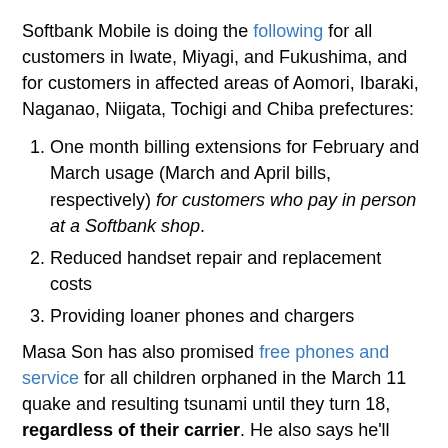Softbank Mobile is doing the following for all customers in Iwate, Miyagi, and Fukushima, and for customers in affected areas of Aomori, Ibaraki, Naganao, Niigata, Tochigi and Chiba prefectures:
One month billing extensions for February and March usage (March and April bills, respectively) for customers who pay in person at a Softbank shop.
Reduced handset repair and replacement costs
Providing loaner phones and chargers
Masa Son has also promised free phones and service for all children orphaned in the March 11 quake and resulting tsunami until they turn 18, regardless of their carrier. He also says he'll replace destroyed iPhones (via Serkan Toto)
Docomo
According to this press release, NTT Docomo is doing the following for people in affected areas of Iwate, Miyagi, Fukushima, Aomori, Ibaraki, Tochigi, Chiba, Nagano, and Niigata until May 31, 2011 at Docomo Shops thoughout